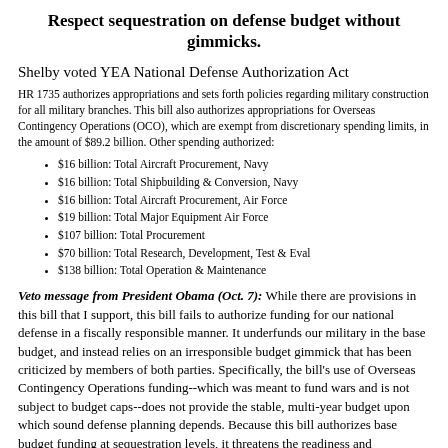Respect sequestration on defense budget without gimmicks.
Shelby voted YEA National Defense Authorization Act
HR 1735 authorizes appropriations and sets forth policies regarding military construction for all military branches. This bill also authorizes appropriations for Overseas Contingency Operations (OCO), which are exempt from discretionary spending limits, in the amount of $89.2 billion. Other spending authorized:
$16 billion: Total Aircraft Procurement, Navy
$16 billion: Total Shipbuilding & Conversion, Navy
$16 billion: Total Aircraft Procurement, Air Force
$19 billion: Total Major Equipment Air Force
$107 billion: Total Procurement
$70 billion: Total Research, Development, Test & Eval
$138 billion: Total Operation & Maintenance
Veto message from President Obama (Oct. 7): While there are provisions in this bill that I support, this bill fails to authorize funding for our national defense in a fiscally responsible manner. It underfunds our military in the base budget, and instead relies on an irresponsible budget gimmick that has been criticized by members of both parties. Specifically, the bill's use of Overseas Contingency Operations funding--which was meant to fund wars and is not subject to budget caps--does not provide the stable, multi-year budget upon which sound defense planning depends. Because this bill authorizes base budget funding at sequestration levels, it threatens the readiness and capabilities of our military.